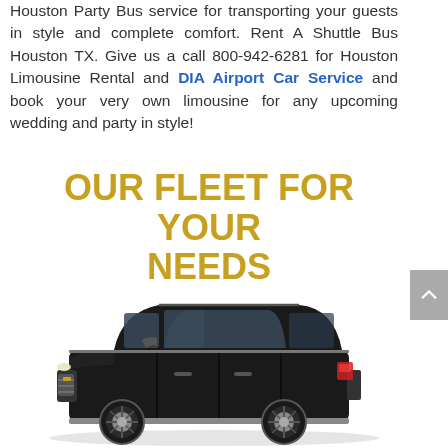Houston Party Bus service for transporting your guests in style and complete comfort. Rent A Shuttle Bus Houston TX. Give us a call 800-942-6281 for Houston Limousine Rental and DIA Airport Car Service and book your very own limousine for any upcoming wedding and party in style!
OUR FLEET FOR YOUR NEEDS
[Figure (photo): Black luxury SUV (Cadillac Escalade) on white background, side-front angle view]